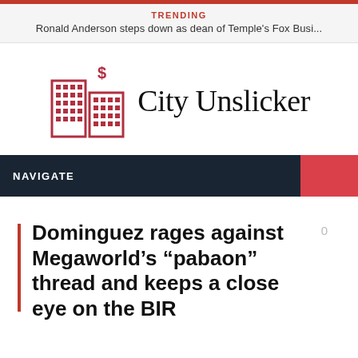TRENDING
Ronald Anderson steps down as dean of Temple's Fox Busi...
[Figure (logo): City Unslicker logo: red building icon with dollar sign and serif wordmark 'City Unslicker']
NAVIGATE
Dominguez rages against Megaworld’s “pabaon” thread and keeps a close eye on the BIR